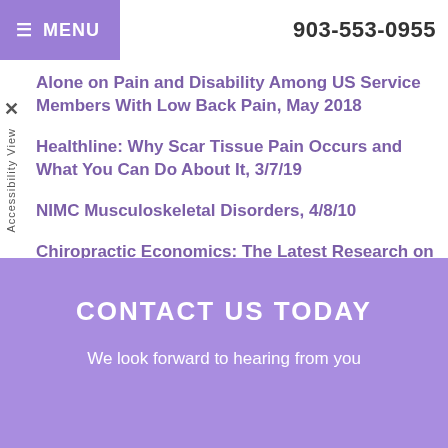MENU  903-553-0955
Alone on Pain and Disability Among US Service Members With Low Back Pain, May 2018
Healthline: Why Scar Tissue Pain Occurs and What You Can Do About It, 3/7/19
NIMC Musculoskeletal Disorders, 4/8/10
Chiropractic Economics: The Latest Research on Chiropractic Care for Faster Injury Recovery, 3/6/20
CONTACT US TODAY
We look forward to hearing from you